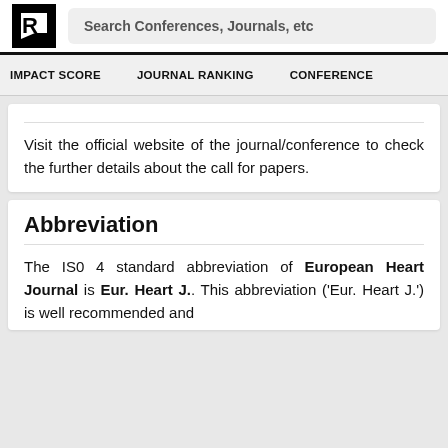Search Conferences, Journals, etc
IMPACT SCORE   JOURNAL RANKING   CONFERENCE
Visit the official website of the journal/conference to check the further details about the call for papers.
Abbreviation
The IS0 4 standard abbreviation of European Heart Journal is Eur. Heart J.. This abbreviation ('Eur. Heart J.') is well recommended and